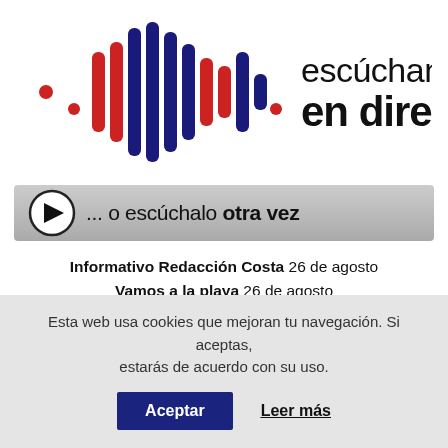[Figure (logo): Radio station logo: sound wave bars in red and dark blue colors, with text 'escúchanos en directo']
[Figure (other): Audio player bar with play button and text '... o escúchalo otra vez']
Informativo Redacción Costa 26 de agosto
Vamos a la playa 26 de agosto
Teatro 'Aquí no paga nadie'
Esta web usa cookies que mejoran tu navegación. Si aceptas, estarás de acuerdo con su uso.
Aceptar   Leer más